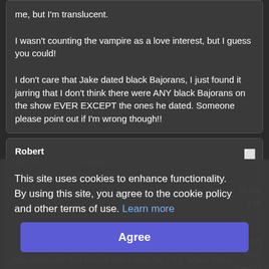me, but I'm translucent.

I wasn't counting the vampire as a love interest, but I guess you could!

I don't care that Jake dated black Bajorans, I just found it jarring that I don't think there were ANY black Bajorans on the show EVER EXCEPT the ones he dated. Someone please point out if I'm wrong though!!
Robert
Tue, Jul 22, 2014, 9:26am (UTC -5)
This site uses cookies to enhance functionality. By using this site, you agree to the cookie policy and other terms of use. Learn more
Agree
feel deliberate that Picard didn't date the 7/10. When Sisko